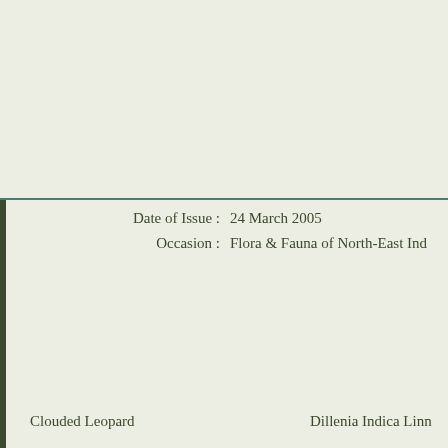Date of Issue : 24 March 2005
Occasion : Flora & Fauna of North-East India
Clouded Leopard
Dillenia Indica Linn